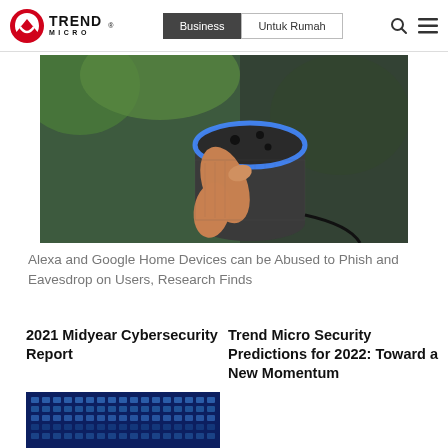Trend Micro — Business | Untuk Rumah
[Figure (photo): A hand pressing a button on an Amazon Echo (Alexa) smart speaker with blue ring light, surrounded by green plants in the background]
Alexa and Google Home Devices can be Abused to Phish and Eavesdrop on Users, Research Finds
2021 Midyear Cybersecurity Report
Trend Micro Security Predictions for 2022: Toward a New Momentum
[Figure (photo): Night city lights blue grid architectural photo]